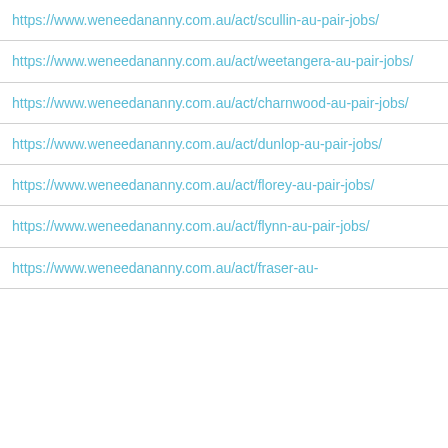| https://www.weneedananny.com.au/act/scullin-au-pair-jobs/ |
| https://www.weneedananny.com.au/act/weetangera-au-pair-jobs/ |
| https://www.weneedananny.com.au/act/charnwood-au-pair-jobs/ |
| https://www.weneedananny.com.au/act/dunlop-au-pair-jobs/ |
| https://www.weneedananny.com.au/act/florey-au-pair-jobs/ |
| https://www.weneedananny.com.au/act/flynn-au-pair-jobs/ |
| https://www.weneedananny.com.au/act/fraser-au- |